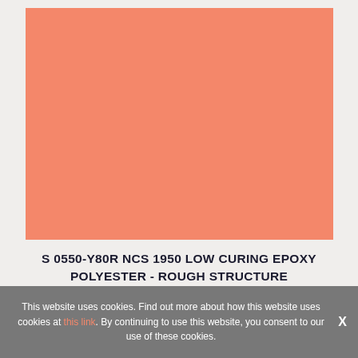[Figure (other): A solid salmon/coral pink color swatch representing paint color S 0550-Y80R]
S 0550-Y80R NCS 1950 LOW CURING EPOXY POLYESTER - ROUGH STRUCTURE METALLIC/MULTICOLOR SEMI GLOSSY (51-70) SERIES P.10
This website uses cookies. Find out more about how this website uses cookies at this link. By continuing to use this website, you consent to our use of these cookies.